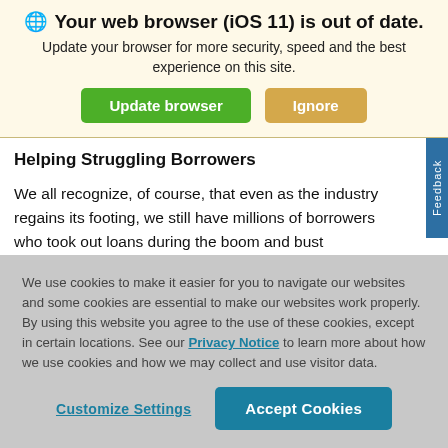🌐 Your web browser (iOS 11) is out of date. Update your browser for more security, speed and the best experience on this site. [Update browser] [Ignore]
Helping Struggling Borrowers
We all recognize, of course, that even as the industry regains its footing, we still have millions of borrowers who took out loans during the boom and bust
We use cookies to make it easier for you to navigate our websites and some cookies are essential to make our websites work properly. By using this website you agree to the use of these cookies, except in certain locations. See our Privacy Notice to learn more about how we use cookies and how we may collect and use visitor data.